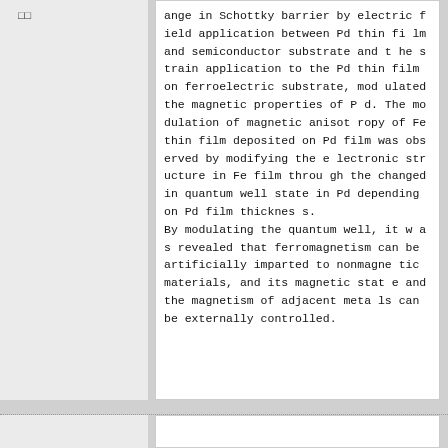□□
ange in Schottky barrier by electric field application between Pd thin film and semiconductor substrate and the strain application to the Pd thin film on ferroelectric substrate, modulated the magnetic properties of Pd. The modulation of magnetic anisotropy of Fe thin film deposited on Pd film was observed by modifying the electronic structure in Fe film through the changed in quantum well state in Pd depending on Pd film thickness.
By modulating the quantum well, it was revealed that ferromagnetism can be artificially imparted to nonmagnetic materials, and its magnetic state and the magnetism of adjacent metals can be externally controlled.